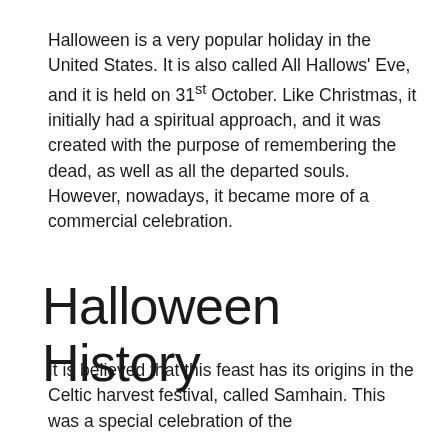Halloween is a very popular holiday in the United States. It is also called All Hallows' Eve, and it is held on 31st October. Like Christmas, it initially had a spiritual approach, and it was created with the purpose of remembering the dead, as well as all the departed souls. However, nowadays, it became more of a commercial celebration.
Halloween History
It is believed that this feast has its origins in the Celtic harvest festival, called Samhain. This was a special celebration of the